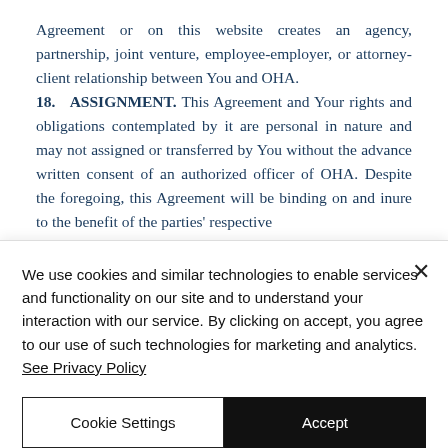Agreement or on this website creates an agency, partnership, joint venture, employee-employer, or attorney-client relationship between You and OHA.
18. ASSIGNMENT. This Agreement and Your rights and obligations contemplated by it are personal in nature and may not assigned or transferred by You without the advance written consent of an authorized officer of OHA. Despite the foregoing, this Agreement will be binding on and inure to the benefit of the parties' respective
We use cookies and similar technologies to enable services and functionality on our site and to understand your interaction with our service. By clicking on accept, you agree to our use of such technologies for marketing and analytics. See Privacy Policy